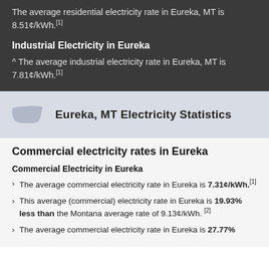The average residential electricity rate in Eureka, MT is 8.51¢/kWh.[1]
Industrial Electricity in Eureka
^ The average industrial electricity rate in Eureka, MT is 7.81¢/kWh.[1]
Eureka, MT Electricity Statistics
Commercial electricity rates in Eureka
Commercial Electricity in Eureka
The average commercial electricity rate in Eureka is 7.31¢/kWh.[1]
This average (commercial) electricity rate in Eureka is 19.93% less than the Montana average rate of 9.13¢/kWh.[2]
The average commercial electricity rate in Eureka is 27.77%...